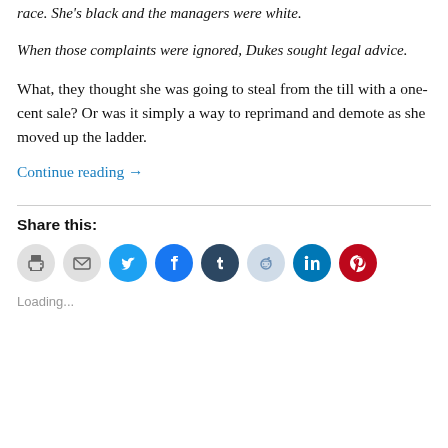race. She's black and the managers were white.
When those complaints were ignored, Dukes sought legal advice.
What, they thought she was going to steal from the till with a one-cent sale? Or was it simply a way to reprimand and demote as she moved up the ladder.
Continue reading →
Share this:
[Figure (other): Row of social sharing icon buttons: print, email, Twitter, Facebook, Tumblr, Reddit, LinkedIn, Pinterest]
Loading...